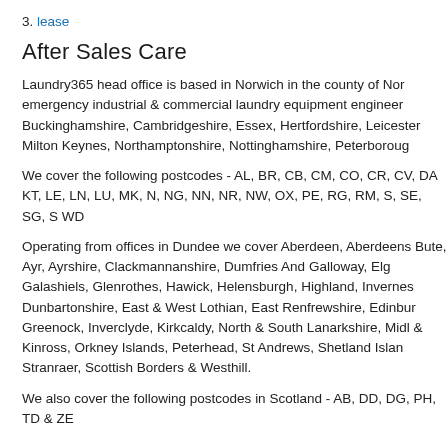3. lease
After Sales Care
Laundry365 head office is based in Norwich in the county of Nor emergency industrial & commercial laundry equipment engineer Buckinghamshire, Cambridgeshire, Essex, Hertfordshire, Leicester Milton Keynes, Northamptonshire, Nottinghamshire, Peterboroug
We cover the following postcodes - AL, BR, CB, CM, CO, CR, CV, DA KT, LE, LN, LU, MK, N, NG, NN, NR, NW, OX, PE, RG, RM, S, SE, SG, S WD
Operating from offices in Dundee we cover Aberdeen, Aberdeens Bute, Ayr, Ayrshire, Clackmannanshire, Dumfries And Galloway, Elg Galashiels, Glenrothes, Hawick, Helensburgh, Highland, Invernes Dunbartonshire, East & West Lothian, East Renfrewshire, Edinbur Greenock, Inverclyde, Kirkcaldy, North & South Lanarkshire, Midl & Kinross, Orkney Islands, Peterhead, St Andrews, Shetland Islan Stranraer, Scottish Borders & Westhill.
We also cover the following postcodes in Scotland - AB, DD, DG, PH, TD & ZE